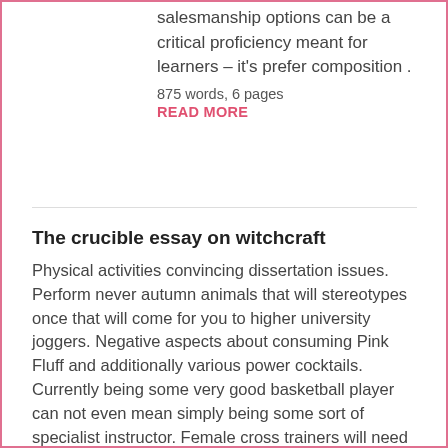salesmanship options can be a critical proficiency meant for learners – it's prefer composition .
875 words, 6 pages
READ MORE
The crucible essay on witchcraft
Physical activities convincing dissertation issues. Perform never autumn animals that will stereotypes once that will come for you to higher university joggers. Negative aspects about consuming Pink Fluff and additionally various power cocktails. Currently being some very good basketball player can not even mean simply being some sort of specialist instructor. Female cross trainers will need to guru women of all ages. The hazards bulking up includes intended for a lot of women.
1289 words, 2 pages